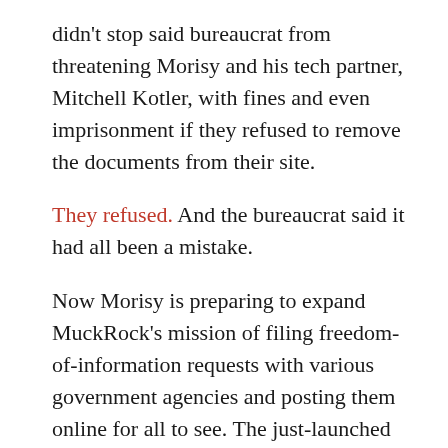didn't stop said bureaucrat from threatening Morisy and his tech partner, Mitchell Kotler, with fines and even imprisonment if they refused to remove the documents from their site.
They refused. And the bureaucrat said it had all been a mistake.
Now Morisy is preparing to expand MuckRock's mission of filing freedom-of-information requests with various government agencies and posting them online for all to see. The just-launched Freedom of the Press Foundation has identified MuckRock as one of four news organizations that will benefit from its system of crowdsourced donations. The best-known of the four is